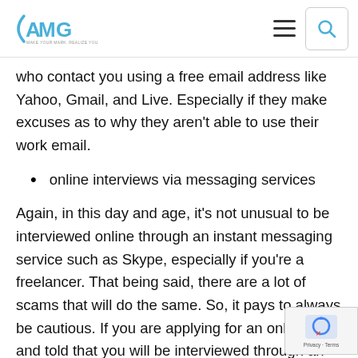AMG logo, hamburger menu, search icon
who contact you using a free email address like Yahoo, Gmail, and Live. Especially if they make excuses as to why they aren't able to use their work email.
online interviews via messaging services
Again, in this day and age, it's not unusual to be interviewed online through an instant messaging service such as Skype, especially if you're a freelancer. That being said, there are a lot of scams that will do the same. So, it pays to always be cautious. If you are applying for an online job and told that you will be interviewed through an instant messaging service, make sure to do your due diligence first before agreeing. Research the company and its employees. Find out what the job entails. And never, ever give them any confidential information. If you're given instructions how to contact the hiring manager that require you to